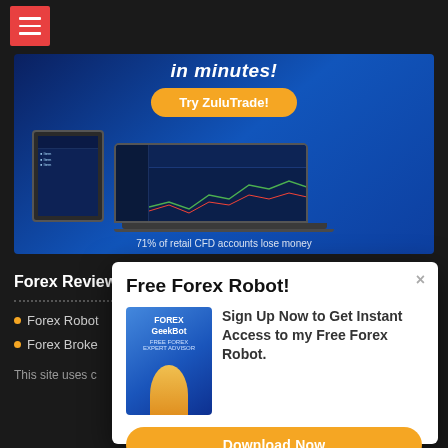[Figure (screenshot): Website top navigation bar with red hamburger menu icon on dark background]
[Figure (screenshot): ZuluTrade banner advertisement on dark blue background showing 'in minutes!' text, orange 'Try ZuluTrade!' button, laptop and tablet with trading platform screens, and disclaimer '71% of retail CFD accounts lose money']
Forex Review
Forex Robot
Forex Broke
This site uses c
[Figure (screenshot): Popup modal with title 'Free Forex Robot!', image of Forex GeekBot product box, text 'Sign Up Now to Get Instant Access to my Free Forex Robot.' and orange 'Download Now' button]